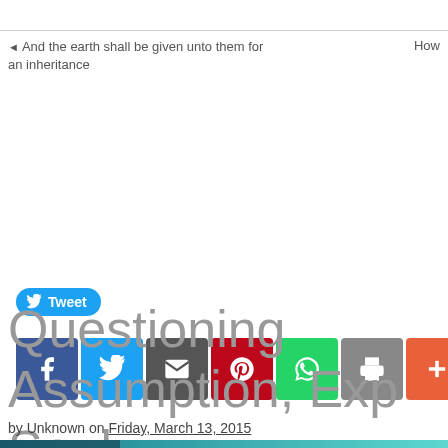◄ And the earth shall be given unto them for an inheritance   How
[Figure (other): Social media sharing buttons: Tweet button (blue), Facebook, Twitter, Email, Pinterest, WhatsApp, Print, More icons]
Questioning Assumption, Exp... Soul
by Unknown on Friday, March 13, 2015
[Figure (photo): Partial photo with teal/blue gradient and dark blue organic shapes, likely related to the article topic]